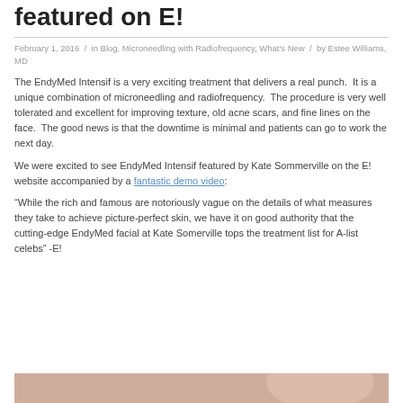featured on E!
February 1, 2016 / in Blog, Microneedling with Radiofrequency, What's New / by Estee Williams, MD
The EndyMed Intensif is a very exciting treatment that delivers a real punch. It is a unique combination of microneedling and radiofrequency. The procedure is very well tolerated and excellent for improving texture, old acne scars, and fine lines on the face. The good news is that the downtime is minimal and patients can go to work the next day.
We were excited to see EndyMed Intensif featured by Kate Sommerville on the E! website accompanied by a fantastic demo video:
“While the rich and famous are notoriously vague on the details of what measures they take to achieve picture-perfect skin, we have it on good authority that the cutting-edge EndyMed facial at Kate Somerville tops the treatment list for A-list celebs” -E!
[Figure (photo): Partial view of a person's face, bottom portion of the page]